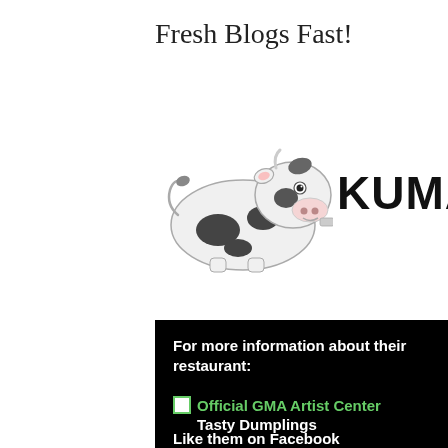Fresh Blogs Fast!
[Figure (logo): Kumagcow logo: cartoon cow illustration with black spots next to bold text KUMAGCOW]
For more information about their restaurant:
Official GMA Artist Center
Tasty Dumplings
Like them on Facebook